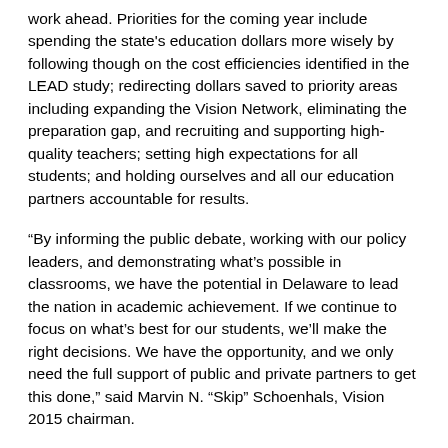work ahead. Priorities for the coming year include spending the state's education dollars more wisely by following though on the cost efficiencies identified in the LEAD study; redirecting dollars saved to priority areas including expanding the Vision Network, eliminating the preparation gap, and recruiting and supporting high-quality teachers; setting high expectations for all students; and holding ourselves and all our education partners accountable for results.
“By informing the public debate, working with our policy leaders, and demonstrating what’s possible in classrooms, we have the potential in Delaware to lead the nation in academic achievement. If we continue to focus on what’s best for our students, we’ll make the right decisions. We have the opportunity, and we only need the full support of public and private partners to get this done,” said Marvin N. “Skip” Schoenhals, Vision 2015 chairman.